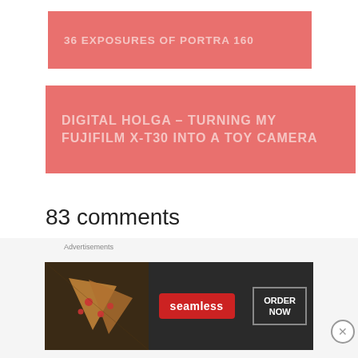36 EXPOSURES OF PORTRA 160
DIGITAL HOLGA – TURNING MY FUJIFILM X-T30 INTO A TOY CAMERA
83 comments
[Figure (screenshot): Seamless food delivery advertisement banner showing pizza slices on dark background with Seamless logo and ORDER NOW button]
Advertisements